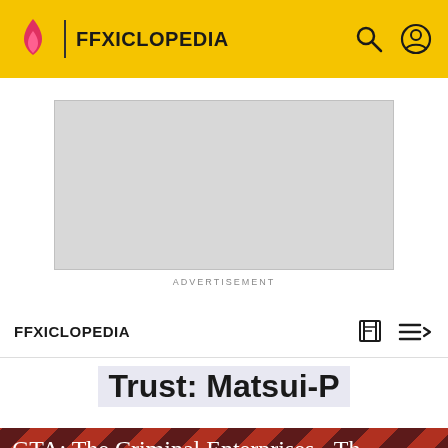FFXICLOPEDIA
[Figure (other): Advertisement placeholder grey box]
ADVERTISEMENT
FFXICLOPEDIA
Trust: Matsui-P
[Figure (photo): GTA: The Criminal Enterprises - Th... promotional image with characters on diagonal stripe background]